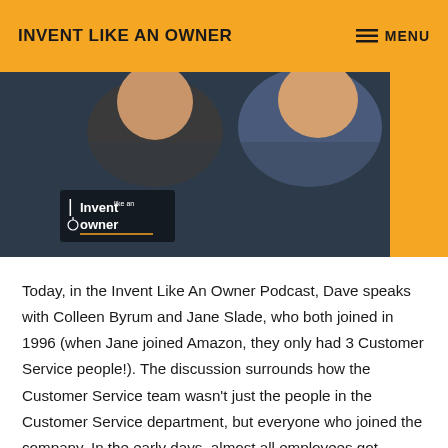INVENT LIKE AN OWNER
[Figure (photo): Two people smiling, photographed from shoulders up, with an 'Invent Like an Owner' logo overlay in the lower left corner. Background is dark blue-grey with an orange border visible on the right.]
Today, in the Invent Like An Owner Podcast, Dave speaks with Colleen Byrum and Jane Slade, who both joined in 1996 (when Jane joined Amazon, they only had 3 Customer Service people!). The discussion surrounds how the Customer Service team wasn't just the people in the Customer Service department, but everyone who joined the company. In the early days, almost all employees got trained in Customer Service support, even engineers and Senior Vice Presidents! Colleen